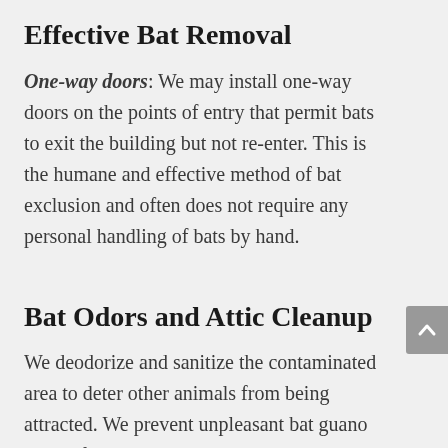Effective Bat Removal
One-way doors: We may install one-way doors on the points of entry that permit bats to exit the building but not re-enter. This is the humane and effective method of bat exclusion and often does not require any personal handling of bats by hand.
Bat Odors and Attic Cleanup
We deodorize and sanitize the contaminated area to deter other animals from being attracted. We prevent unpleasant bat guano smells from entering your work and living